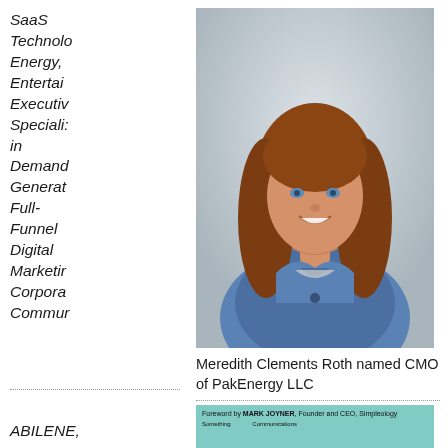SaaS Technology, Energy, Entertainment Executive Specializing in Demand Generation Full-Funnel Digital Marketing Corporate Communications
ABILENE,
[Figure (photo): Headshot of Meredith Clements Roth, a woman with long brown hair wearing a denim jacket, smiling against a light gray background.]
Meredith Clements Roth named CMO of PakEnergy LLC
[Figure (photo): Partial view of a book cover with teal/turquoise background. Text reads: Foreword by MARK JOYNER, Founder and CEO, Simpleology.]